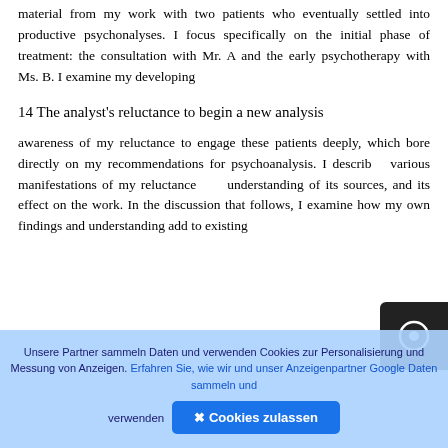material from my work with two patients who eventually settled into productive psychoanalyses. I focus specifically on the initial phase of treatment: the consultation with Mr. A and the early psychotherapy with Ms. B. I examine my developing
14 The analyst's reluctance to begin a new analysis
awareness of my reluctance to engage these patients deeply, which bore directly on my recommendations for psychoanalysis. I described various manifestations of my reluctance, my understanding of its sources, and its effect on the work. In the discussion that follows, I examine how my own findings and understanding add to existing
Unsere Partner sammeln Daten und verwenden Cookies zur Personalisierung und Messung von Anzeigen. Erfahren Sie, wie wir und unser Anzeigenpartner Google Daten sammeln und verwenden